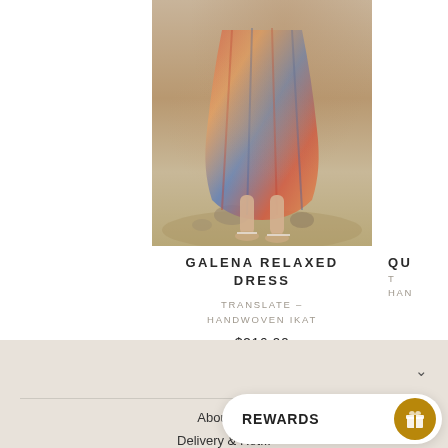[Figure (photo): Person wearing a colorful handwoven ikat dress walking on sandy/rocky beach, showing lower body and feet]
GALENA RELAXED DRESS
TRANSLATE - HANDWOVEN IKAT
$216.00
QU... HAN...
About Us
Delivery & Ret...
Shipping, Form & FAQ...
REWARDS